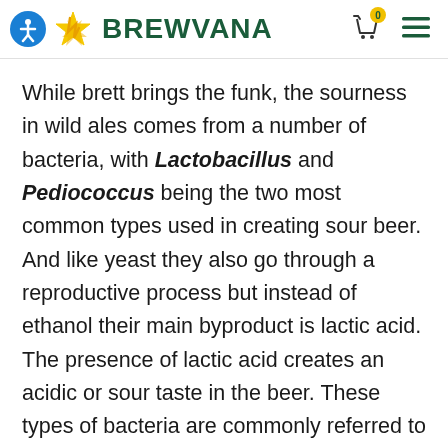BREWVANA
While brett brings the funk, the sourness in wild ales comes from a number of bacteria, with Lactobacillus and Pediococcus being the two most common types used in creating sour beer. And like yeast they also go through a reproductive process but instead of ethanol their main byproduct is lactic acid. The presence of lactic acid creates an acidic or sour taste in the beer. These types of bacteria are commonly referred to as lactic acid producing bacteria or LAB for short.
Wild ales will use saccharomyces, brettanomyces,